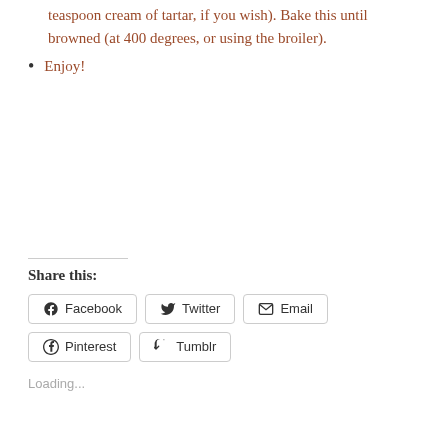teaspoon cream of tartar, if you wish). Bake this until browned (at 400 degrees, or using the broiler).
Enjoy!
Share this:
Facebook  Twitter  Email  Pinterest  Tumblr
Loading...